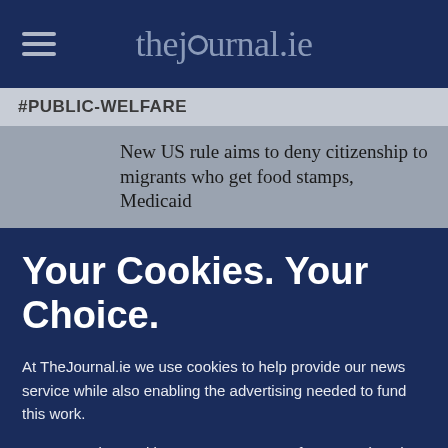thejournal.ie
#PUBLIC-WELFARE
New US rule aims to deny citizenship to migrants who get food stamps, Medicaid
Your Cookies. Your Choice.
At TheJournal.ie we use cookies to help provide our news service while also enabling the advertising needed to fund this work.
We categorise cookies as Necessary, Performance (used to analyse the site performance) and Targeting (used to target advertising which helps us keep this service free).
You can choose to 'accept all' cookies below or to only opt in to what you are happy to accept using 'manage cookies'. You can also change your cookie settings at any